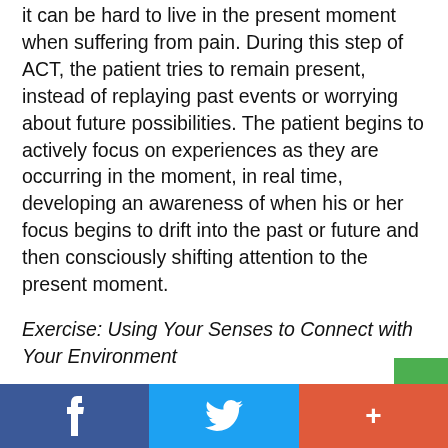it can be hard to live in the present moment when suffering from pain. During this step of ACT, the patient tries to remain present, instead of replaying past events or worrying about future possibilities. The patient begins to actively focus on experiences as they are occurring in the moment, in real time, developing an awareness of when his or her focus begins to drift into the past or future and then consciously shifting attention to the present moment.
Exercise: Using Your Senses to Connect with Your Environment
When you are experiencing mindful of the...